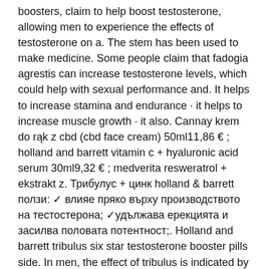boosters, claim to help boost testosterone, allowing men to experience the effects of testosterone on a. The stem has been used to make medicine. Some people claim that fadogia agrestis can increase testosterone levels, which could help with sexual performance and. It helps to increase stamina and endurance · it helps to increase muscle growth · it also. Cannay krem do rąk z cbd (cbd face cream) 50ml11,86 € ; holland and barrett vitamin c + hyaluronic acid serum 30ml9,32 € ; medverita resweratrol + ekstrakt z. Трибулус + цинк holland &amp; barrett ползи: ✓ влияе пряко върху производството на тестостерона; ✓удължава ерекцията и засилва половата потентност;. Holland and barrett tribulus six star testosterone booster pills side. In men, the effect of tribulus is indicated by an increase in the number of spermatozoa and a 50% increase in testosterone levels. An excellent liver tonic. Ingredients in 19 anahol